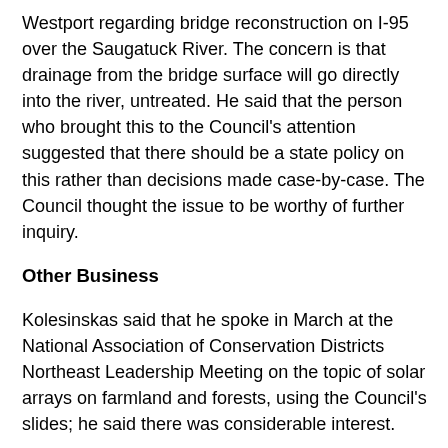Westport regarding bridge reconstruction on I-95 over the Saugatuck River. The concern is that drainage from the bridge surface will go directly into the river, untreated. He said that the person who brought this to the Council's attention suggested that there should be a state policy on this rather than decisions made case-by-case. The Council thought the issue to be worthy of further inquiry.
Other Business
Kolesinskas said that he spoke in March at the National Association of Conservation Districts Northeast Leadership Meeting on the topic of solar arrays on farmland and forests, using the Council's slides; he said there was considerable interest.
There being no further business, Chair Merrow asked for a motion to adjourn. Charamut made a motion to